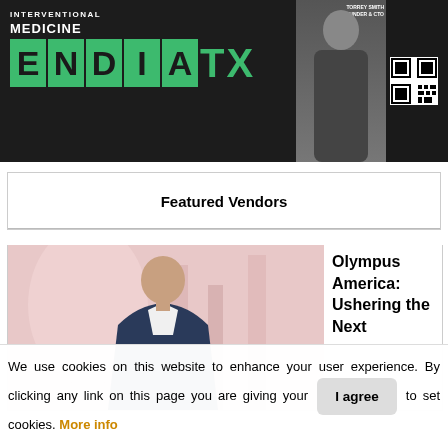[Figure (photo): Magazine cover banner for Interventional Medicine ENDIATX featuring a person (Torrey Smith, Co-Founder & CTO) with green stylized ENDIATX logo text and QR code]
Featured Vendors
[Figure (photo): Photo of a man in a dark blazer and white shirt, posed in front of a blurred reddish-pink industrial background]
Olympus America: Ushering the Next
We use cookies on this website to enhance your user experience. By clicking any link on this page you are giving your consent to set cookies. More info